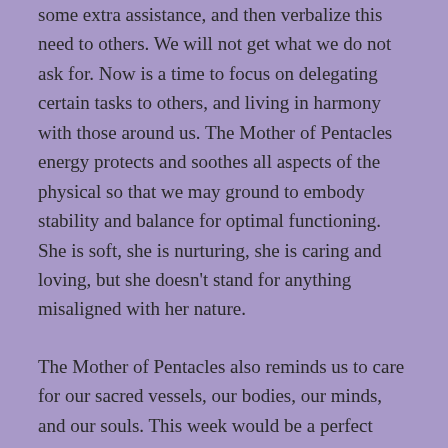some extra assistance, and then verbalize this need to others. We will not get what we do not ask for. Now is a time to focus on delegating certain tasks to others, and living in harmony with those around us. The Mother of Pentacles energy protects and soothes all aspects of the physical so that we may ground to embody stability and balance for optimal functioning. She is soft, she is nurturing, she is caring and loving, but she doesn't stand for anything misaligned with her nature.
The Mother of Pentacles also reminds us to care for our sacred vessels, our bodies, our minds, and our souls. This week would be a perfect time to go on a health cleanse or detox, set intentions around eating healthy vibrant foods, begin a new exercise regimen, and even clear up any areas of instability or uncertainty surrounding our finances. Practice grounding your energy by  taking a walk outside barefoot. Sit underneath